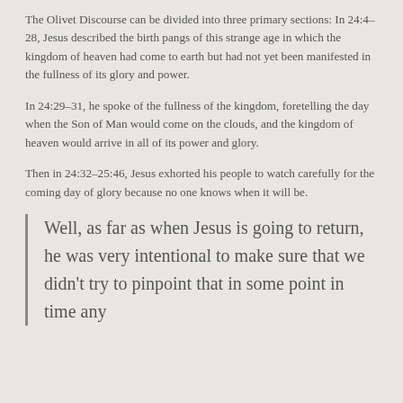The Olivet Discourse can be divided into three primary sections: In 24:4–28, Jesus described the birth pangs of this strange age in which the kingdom of heaven had come to earth but had not yet been manifested in the fullness of its glory and power.
In 24:29–31, he spoke of the fullness of the kingdom, foretelling the day when the Son of Man would come on the clouds, and the kingdom of heaven would arrive in all of its power and glory.
Then in 24:32–25:46, Jesus exhorted his people to watch carefully for the coming day of glory because no one knows when it will be.
Well, as far as when Jesus is going to return, he was very intentional to make sure that we didn't try to pinpoint that in some point in time any